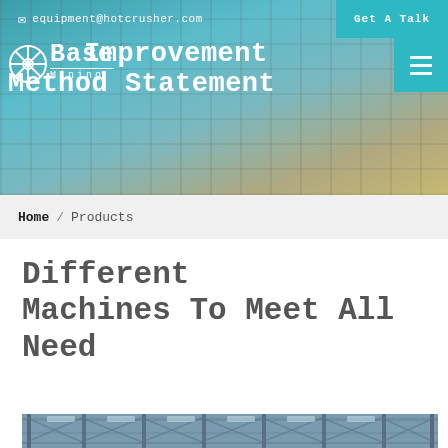[Figure (photo): Website header with industrial mining/crushing equipment facility in background, teal/blue sky. Includes top navigation bar with email and Get A Talk button, logo area with snowflake icon and Base Mining text, and large title text 'Base Improvement Method Statement'.]
equipment@hotcrusher.com   Get A Talk
Base Improvement Method Statement
Home / Products
Different Machines To Meet All Need
[Figure (photo): Interior of a large industrial factory/warehouse with steel truss roof structure visible]